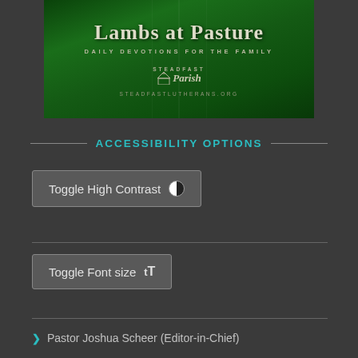[Figure (illustration): Book cover for 'Lambs at Pasture' - Daily Devotions for the Family, with dark green textured background. Shows Steadfast Parish logo and steadfastlutherans.org URL.]
ACCESSIBILITY OPTIONS
Toggle High Contrast
Toggle Font size
Pastor Joshua Scheer (Editor-in-Chief)